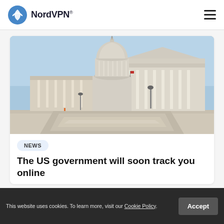NordVPN®
[Figure (photo): Photograph of the US Capitol Building exterior with steps, columns, and the dome visible against a blue sky]
NEWS
The US government will soon track you online
This website uses cookies. To learn more, visit our Cookie Policy.